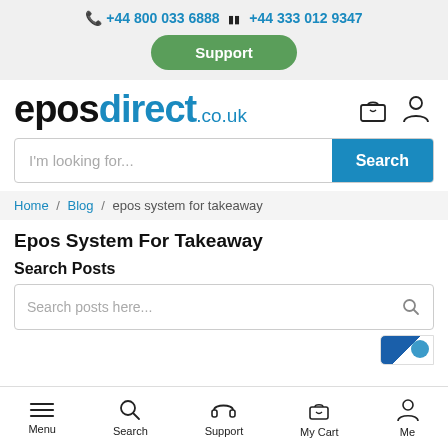📞 +44 800 033 6888  🔲 +44 333 012 9347  Support
[Figure (logo): eposdirect.co.uk logo with shopping bag and person icon]
I'm looking for...  Search
Home / Blog / epos system for takeaway
Epos System For Takeaway
Search Posts
Search posts here...
Menu  Search  Support  My Cart  Me